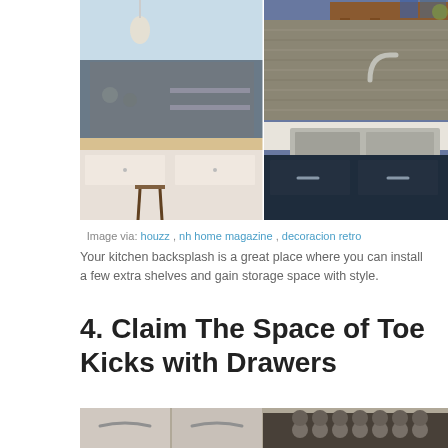[Figure (photo): Two kitchen photos side by side: left shows a kitchen with pendant light, open shelving, and bar stool; right shows a kitchen with stone tile backsplash, wooden shelf, and stainless steel sink]
Image via: houzz , nh home magazine , decoracion retro
Your kitchen backsplash is a great place where you can install a few extra shelves and gain storage space with style.
4. Claim The Space of Toe Kicks with Drawers
[Figure (photo): Close-up photo of toe kick drawers at the base of kitchen cabinets, showing baking trays and round molds stored inside]